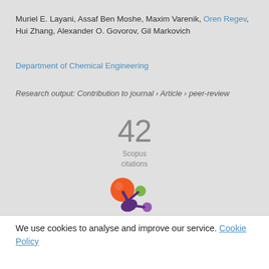Muriel E. Layani, Assaf Ben Moshe, Maxim Varenik, Oren Regev, Hui Zhang, Alexander O. Govorov, Gil Markovich
Department of Chemical Engineering
Research output: Contribution to journal › Article › peer-review
42 Scopus citations
[Figure (logo): Altmetric donut logo with orange, green and purple circles and dark purple stem]
We use cookies to analyse and improve our service. Cookie Policy